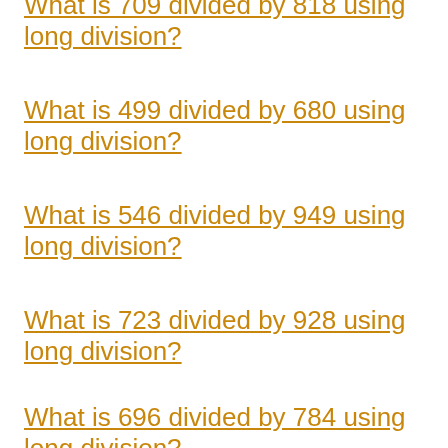What is 709 divided by 818 using long division?
What is 499 divided by 680 using long division?
What is 546 divided by 949 using long division?
What is 723 divided by 928 using long division?
What is 696 divided by 784 using long division?